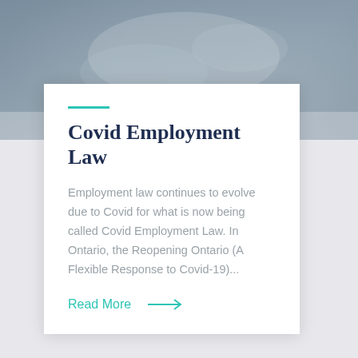[Figure (photo): Background photo of hands washing or handling material, with blue-grey tones, partially covered by a white card overlay]
Covid Employment Law
Employment law continues to evolve due to Covid for what is now being called Covid Employment Law. In Ontario, the Reopening Ontario (A Flexible Response to Covid-19)...
Read More →